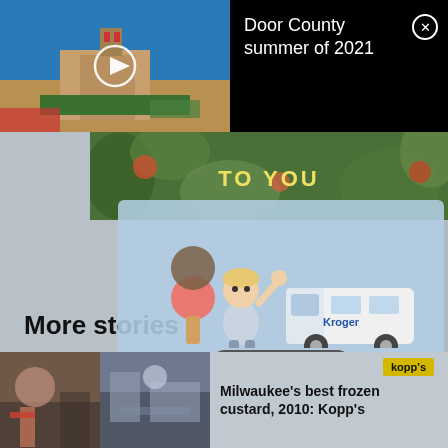[Figure (screenshot): Video thumbnail showing a building with blue sky, with a play button overlay]
Door County summer of 2021
[Figure (photo): Floral/garden banner image with text 'TO YOU' in yellow letters]
[Figure (screenshot): Kroger Delivery advertisement with cartoon character holding ice cream, a delivery van, SHOP Now button, and Kroger logo with Pick'n Save and metro market logos]
More stories
[Figure (photo): Two thumbnail photos for an article about Milwaukee's best frozen custard, Kopp's 2010]
Milwaukee's best frozen custard, 2010: Kopp's